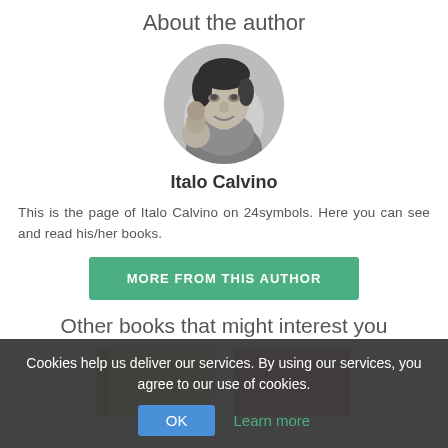About the author
[Figure (photo): Black and white circular portrait photo of Italo Calvino]
Italo Calvino
This is the page of Italo Calvino on 24symbols. Here you can see and read his/her books.
MORE FROM THIS AUTHOR
Other books that might interest you
[Figure (photo): Book cover with yellow/olive background]
[Figure (photo): Book cover with red background, text partially visible: VICTIM]
Cookies help us deliver our services. By using our services, you agree to our use of cookies.
OK
Learn more